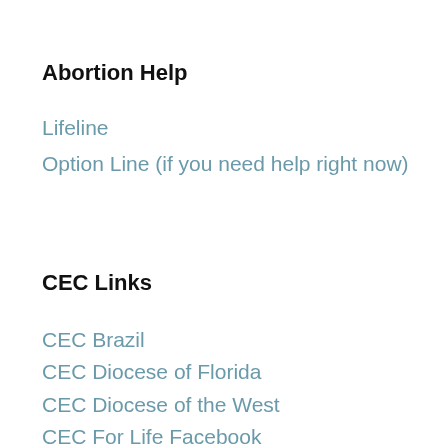Abortion Help
Lifeline
Option Line (if you need help right now)
CEC Links
CEC Brazil
CEC Diocese of Florida
CEC Diocese of the West
CEC For Life Facebook